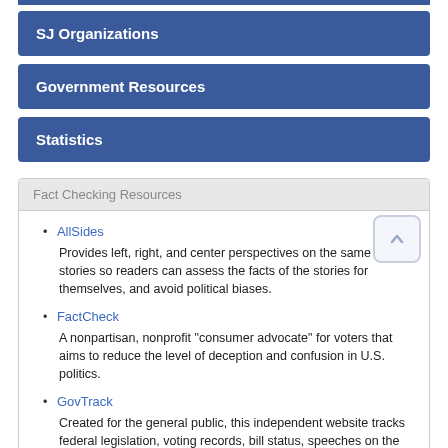SJ Organizations
Government Resources
Statistics
Fact Checking Resources
AllSides – Provides left, right, and center perspectives on the same news stories so readers can assess the facts of the stories for themselves, and avoid political biases.
FactCheck – A nonpartisan, nonprofit "consumer advocate" for voters that aims to reduce the level of deception and confusion in U.S. politics.
GovTrack – Created for the general public, this independent website tracks federal legislation, voting records, bill status, speeches on the floor, etc.
HoaxSlayer.com – Publishes information about internet scams and otherinternet security